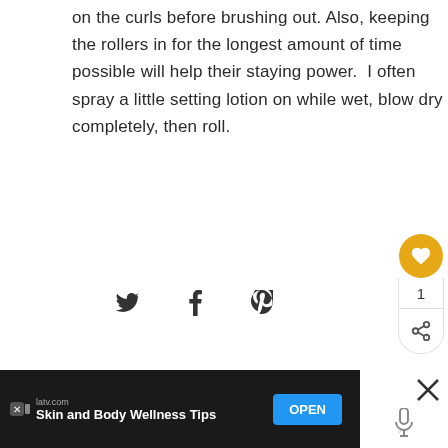on the curls before brushing out. Also, keeping the rollers in for the longest amount of time possible will help their staying power.  I often spray a little setting lotion on while wet, blow dry completely, then roll.
[Figure (infographic): Social share icons: Twitter bird, Facebook f, Pinterest P]
[Figure (infographic): Sidebar with gold heart/like button, count '1', and share icon]
[Figure (infographic): What's Next promo: circular avatar photo, label 'WHAT'S NEXT ->' with text 'Snow, Marilyn and Pin Curls']
MORE POSTS IN VINTAGE HAIR
[Figure (screenshot): Advertisement banner: latv.com 'Skin and Body Wellness Tips' with OPEN button on dark background, and an X close panel on the right]